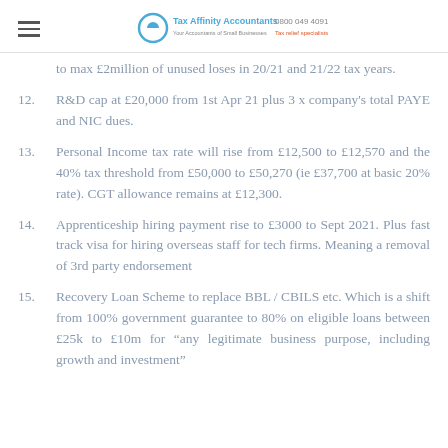Tax Affinity Accountants | 0800 049 4091
to max £2million of unused loses in 20/21 and 21/22 tax years.
12. R&D cap at £20,000 from 1st Apr 21 plus 3 x company's total PAYE and NIC dues.
13. Personal Income tax rate will rise from £12,500 to £12,570 and the 40% tax threshold from £50,000 to £50,270 (ie £37,700 at basic 20% rate). CGT allowance remains at £12,300.
14. Apprenticeship hiring payment rise to £3000 to Sept 2021. Plus fast track visa for hiring overseas staff for tech firms. Meaning a removal of 3rd party endorsement
15. Recovery Loan Scheme to replace BBL / CBILS etc. Which is a shift from 100% government guarantee to 80% on eligible loans between £25k to £10m for "any legitimate business purpose, including growth and investment"